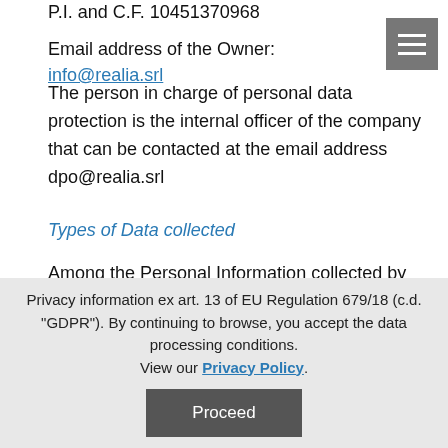P.I. and C.F. 10451370968
Email address of the Owner: info@realia.srl
The person in charge of personal data protection is the internal officer of the company that can be contacted at the email address dpo@realia.srl
Types of Data collected
Among the Personal Information collected by Realia, either independently or through third parties, there are: email, first name, last name, Usage data, phone number, profession, province, state, country, postal code, gender, date of birth, city , address, company name, website, cookies and various types of
Privacy information ex art. 13 of EU Regulation 679/18 (c.d. "GDPR"). By continuing to browse, you accept the data processing conditions. View our Privacy Policy.
Proceed